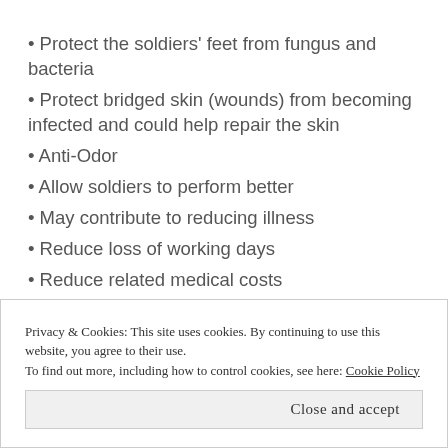• Protect the soldiers' feet from fungus and bacteria
• Protect bridged skin (wounds) from becoming infected and could help repair the skin
• Anti-Odor
• Allow soldiers to perform better
• May contribute to reducing illness
• Reduce loss of working days
• Reduce related medical costs
Privacy & Cookies: This site uses cookies. By continuing to use this website, you agree to their use. To find out more, including how to control cookies, see here: Cookie Policy
Close and accept